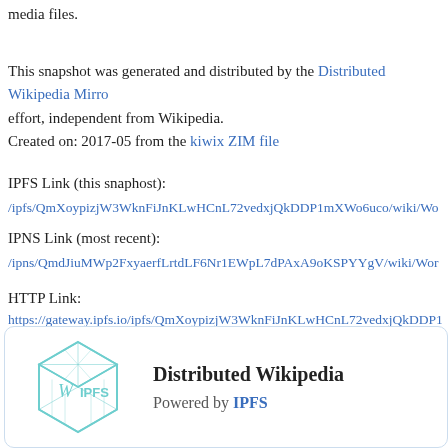media files.
This snapshot was generated and distributed by the Distributed Wikipedia Mirror effort, independent from Wikipedia.
Created on: 2017-05 from the kiwix ZIM file
IPFS Link (this snaphost):
/ipfs/QmXoypizjW3WknFiJnKLwHCnL72vedxjQkDDP1mXWo6uco/wiki/Wo
IPNS Link (most recent):
/ipns/QmdJiuMWp2FxyaerfLrtdLF6Nr1EWpL7dPAxA9oKSPYYgV/wiki/Wor
HTTP Link:
https://gateway.ipfs.io/ipfs/QmXoypizjW3WknFiJnKLwHCnL72vedxjQkDDP1
Download IPFS Here 🔗
[Figure (logo): IPFS cube logo with W and IPFS text inside a teal geometric cube shape]